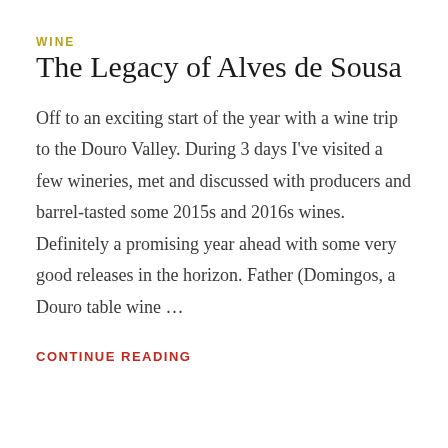WINE
The Legacy of Alves de Sousa
Off to an exciting start of the year with a wine trip to the Douro Valley. During 3 days I've visited a few wineries, met and discussed with producers and barrel-tasted some 2015s and 2016s wines. Definitely a promising year ahead with some very good releases in the horizon. Father (Domingos, a Douro table wine …
CONTINUE READING